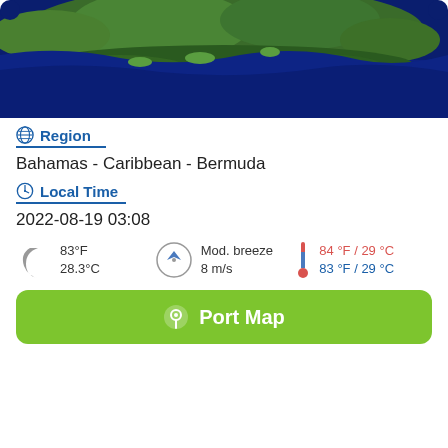[Figure (map): Satellite aerial view of a coastal island region, showing green landmass surrounded by deep blue ocean water.]
Region
Bahamas - Caribbean - Bermuda
Local Time
2022-08-19 03:08
83°F / 28.3°C  Mod. breeze 8 m/s  84 °F / 29 °C (high) 83 °F / 29 °C (low)
Port Map